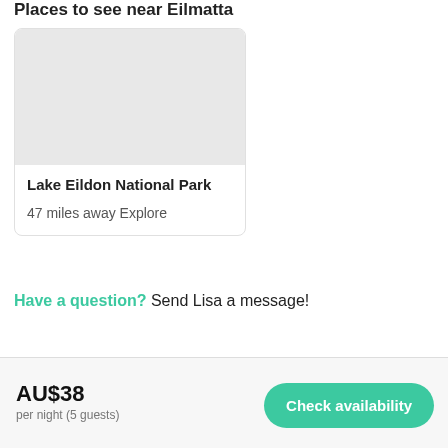Places to see near Eilmatta
[Figure (photo): Gray placeholder image for Lake Eildon National Park]
Lake Eildon National Park
47 miles away Explore
Have a question? Send Lisa a message!
AU$38
per night (5 guests)
Check availability